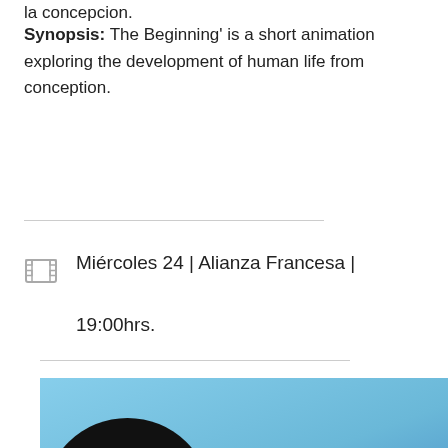la concepcion.
Synopsis: The Beginning’ is a short animation exploring the development of human life from conception.
Miércoles 24 | Alianza Francesa | 19:00hrs.
[Figure (photo): A photo showing a dark figure (possibly with curly hair) against a blue sky background, with a film strip decoration on the right edge and a pink/magenta element in the lower portion.]